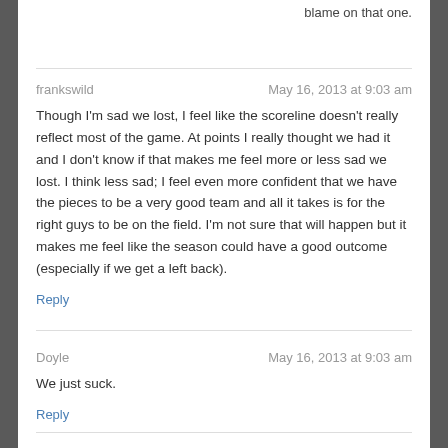blame on that one.
frankswild	May 16, 2013 at 9:03 am
Though I'm sad we lost, I feel like the scoreline doesn't really reflect most of the game. At points I really thought we had it and I don't know if that makes me feel more or less sad we lost. I think less sad; I feel even more confident that we have the pieces to be a very good team and all it takes is for the right guys to be on the field. I'm not sure that will happen but it makes me feel like the season could have a good outcome (especially if we get a left back).
Reply
Doyle	May 16, 2013 at 9:03 am
We just suck.
Reply